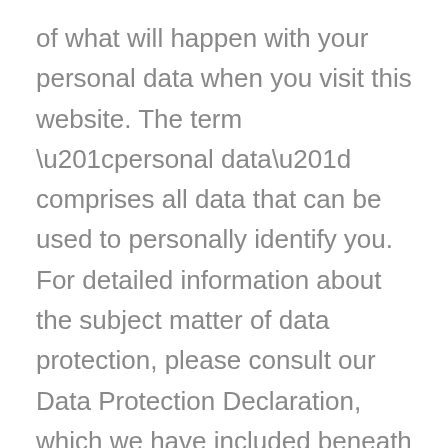of what will happen with your personal data when you visit this website. The term “personal data” comprises all data that can be used to personally identify you. For detailed information about the subject matter of data protection, please consult our Data Protection Declaration, which we have included beneath this copy.
Data recording on this website
Who is the responsible party for the recording of data on this website (i.e., the